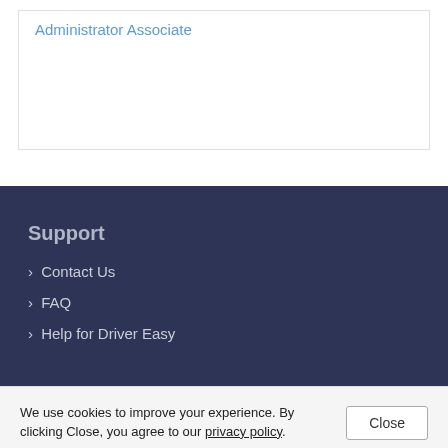Administrator Associate
Support
› Contact Us
› FAQ
› Help for Driver Easy
We use cookies to improve your experience. By clicking Close, you agree to our privacy policy.